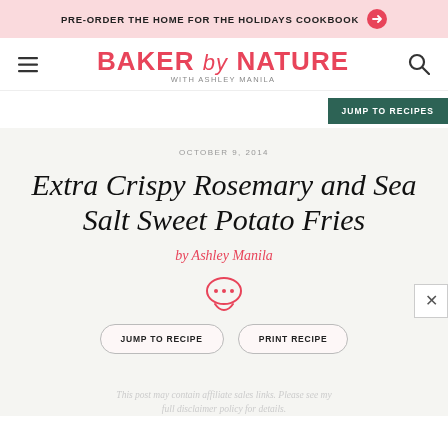PRE-ORDER THE HOME FOR THE HOLIDAYS COOKBOOK →
BAKER by NATURE WITH ASHLEY MANILA
JUMP TO RECIPES
OCTOBER 9, 2014
Extra Crispy Rosemary and Sea Salt Sweet Potato Fries
by Ashley Manila
JUMP TO RECIPE   PRINT RECIPE
This post may contain affiliate sales links. Please see my full disclaimer policy for details.